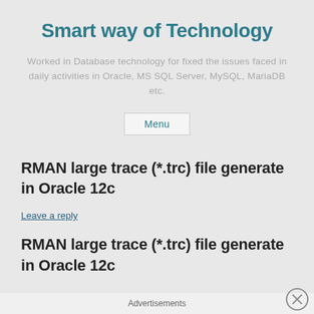Smart way of Technology
Worked in Database technology for fixed the issues faced in daily activities in Oracle, MS SQL Server, MySQL, MariaDB etc.
Menu
RMAN large trace (*.trc) file generate in Oracle 12c
Leave a reply
RMAN large trace (*.trc) file generate in Oracle 12c
Advertisements